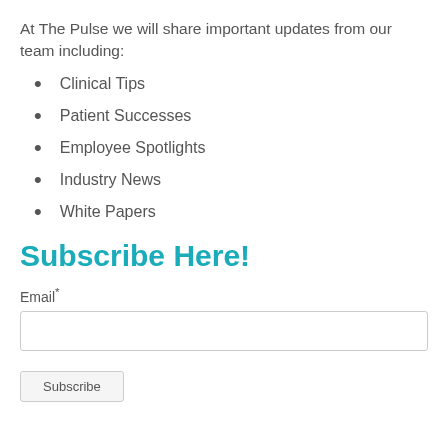At The Pulse we will share important updates from our team including:
Clinical Tips
Patient Successes
Employee Spotlights
Industry News
White Papers
Subscribe Here!
Email*